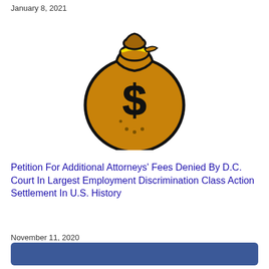January 8, 2021
[Figure (illustration): Cartoon illustration of a brown money bag with a dollar sign on it, tied at the top with a yellow ribbon, with a black outline.]
Petition For Additional Attorneys' Fees Denied By D.C. Court In Largest Employment Discrimination Class Action Settlement In U.S. History
November 11, 2020
[Figure (other): A dark blue rounded rectangle button bar at the bottom of the page.]